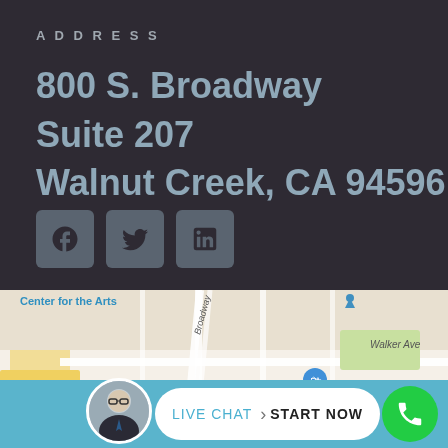ADDRESS
800 S. Broadway
Suite 207
Walnut Creek, CA 94596
[Figure (infographic): Social media icons: Facebook, Twitter, LinkedIn on dark background]
[Figure (map): Google Maps screenshot showing Walnut Creek area near Nordstrom with Walker Ave visible, Center for the Arts label, location pin dropped]
LIVE CHAT  START NOW